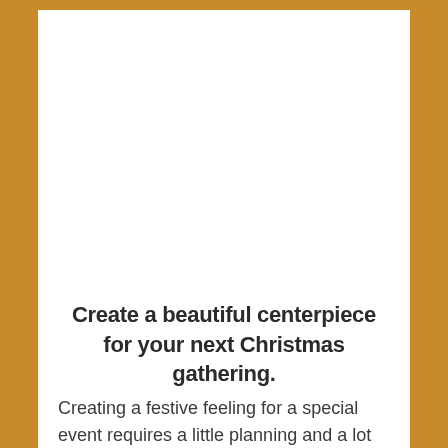Create a beautiful centerpiece for your next Christmas gathering.
Creating a festive feeling for a special event requires a little planning and a lot of creativity. At a recent event, over 30 woman gathered to help finish blankets for a local organization that